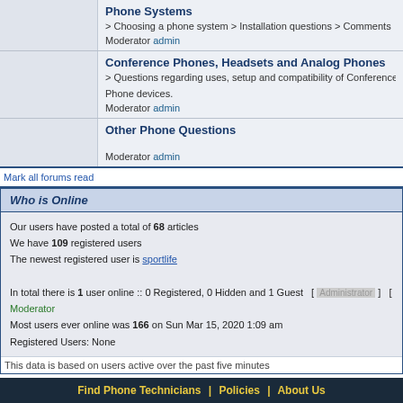Phone Systems
> Choosing a phone system > Installation questions > Comments
Moderator admin
Conference Phones, Headsets and Analog Phones
> Questions regarding uses, setup and compatibility of Conference Phones, Headsets and Analog Phone devices.
Moderator admin
Other Phone Questions
Moderator admin
Mark all forums read
Who is Online
Our users have posted a total of 68 articles
We have 109 registered users
The newest registered user is sportlife

In total there is 1 user online :: 0 Registered, 0 Hidden and 1 Guest  [ Administrator ]  [ Moderator ]
Most users ever online was 166 on Sun Mar 15, 2020 1:09 am
Registered Users: None
This data is based on users active over the past five minutes
Log in
Username:  Password:  Log me
New posts    No new posts
Find Phone Technicians  |  Policies  |  About Us